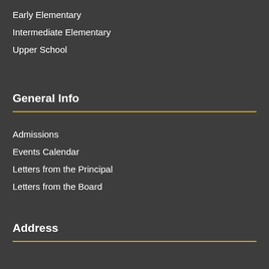Early Elementary
Intermediate Elementary
Upper School
General Info
Admissions
Events Calendar
Letters from the Principal
Letters from the Board
Address